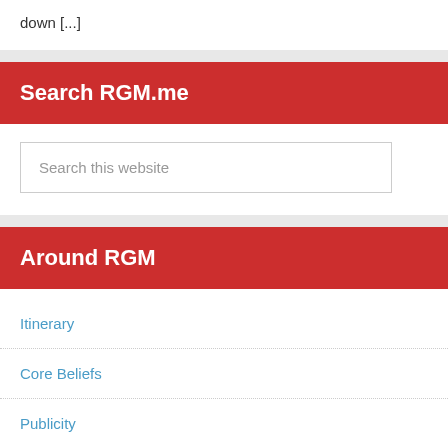down [...]
Search RGM.me
Search this website
Around RGM
Itinerary
Core Beliefs
Publicity